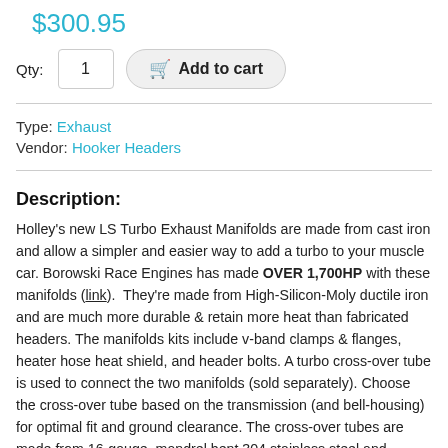$300.95
Qty: 1  Add to cart
Type: Exhaust
Vendor: Hooker Headers
Description:
Holley's new LS Turbo Exhaust Manifolds are made from cast iron and allow a simpler and easier way to add a turbo to your muscle car. Borowski Race Engines has made OVER 1,700HP with these manifolds (link). They're made from High-Silicon-Moly ductile iron and are much more durable & retain more heat than fabricated headers. The manifolds kits include v-band clamps & flanges, heater hose heat shield, and header bolts. A turbo cross-over tube is used to connect the two manifolds (sold separately). Choose the cross-over tube based on the transmission (and bell-housing) for optimal fit and ground clearance. The cross-over tubes are made from 16-gauge, mandrel bent 304 stainless steel and include a flex joint and v-band flanges welded on for an easy bolt-on fit. A universal cross-over component kit is also available for custom applications that need something a little different (requires fabrication & welding). These parts work with most common LS swap parts (i.e. motor mounts, swap oil pan, and accessory drive systems) & provide the